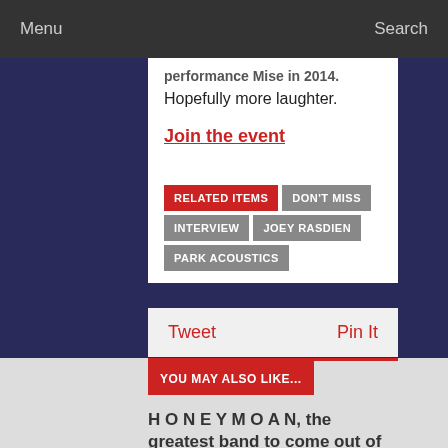Menu  Search
performance Mise in 2014.
Hopefully more laughter.
Join the event
RELATED ITEMS  DON'T MISS  INTERVIEW  JOEY RASDIEN  PARK ACOUSTICS
Tweet  Pin It
YOU MAY ALSO LIKE...
H O N E Y M O A N, the greatest band to come out of SA in years!
EQUINOX Experience 2018: The Enchanted Forest
Rocking The Daisies 2018